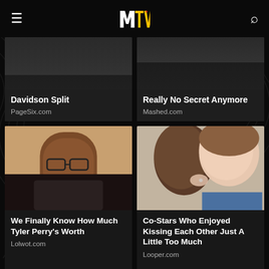[Figure (screenshot): MTV website screenshot showing nav bar with hamburger menu, MTV logo, and search icon on black background]
[Figure (photo): News card: 'Davidson Split' from PageSix.com — partial card cropped at top]
[Figure (photo): News card: 'Really No Secret Anymore' from Mashed.com — partial card cropped at top]
[Figure (photo): News card with photo of Tyler Perry wearing glasses. Headline: 'We Finally Know How Much Tyler Perry's Worth'. Source: Lolwot.com]
[Figure (photo): News card with photo of two people kissing. Headline: 'Co-Stars Who Enjoyed Kissing Each Other Just A Little Too Much'. Source: Looper.com]